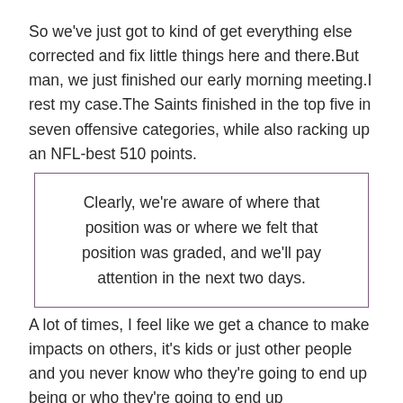So we've just got to kind of get everything else corrected and fix little things here and there.But man, we just finished our early morning meeting.I rest my case.The Saints finished in the top five in seven offensive categories, while also racking up an NFL-best 510 points.
Clearly, we're aware of where that position was or where we felt that position was graded, and we'll pay attention in the next two days.
A lot of times, I feel like we get a chance to make impacts on others, it's kids or just other people and you never know who they're going to end up being or who they're going to end up impacting.Because I love doing , I've been doing this since I was young.He joined the Nittany Lions in 2017 as a defensive consultant and served as the special teams coordinator for the 2017 Playstation Fiesta Bowl.The